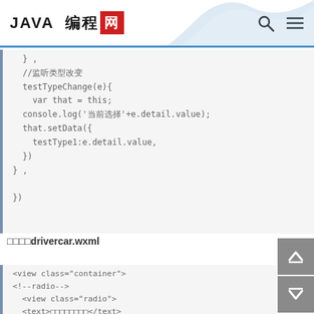JAVA 编程网
[Figure (screenshot): Code block showing JavaScript method testTypeChange with setData call, followed by closing brackets })]
修改drivercar.wxml
[Figure (screenshot): WXML code block with lt;view class=container, lt;!--radio-->, lt;view class=radio, lt;text content, lt;radio-group class=radio-group bindch..., lt;label class=radio wx:for=pw_subje...]